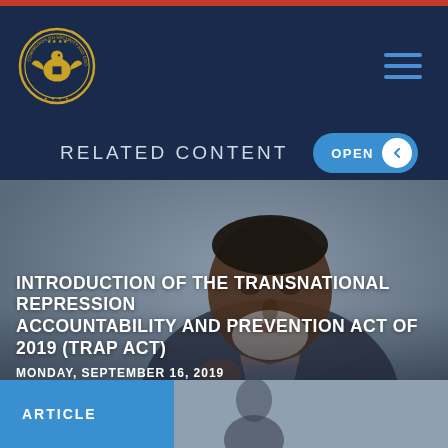RELATED CONTENT
[Figure (photo): Close-up photo of a middle-aged man with grey beard speaking, wearing a dark suit, overlaid with article title text]
INTRODUCTION OF THE TRANSNATIONAL REPRESSION ACCOUNTABILITY AND PREVENTION ACT OF 2019 (TRAP ACT)
MONDAY, SEPTEMBER 16, 2019
ARTICLE